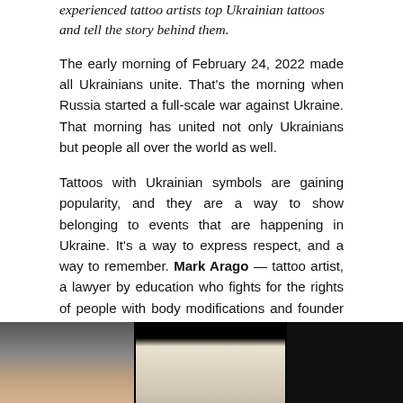experienced tattoo artists top Ukrainian tattoos and tell the story behind them.
The early morning of February 24, 2022 made all Ukrainians unite. That's the morning when Russia started a full-scale war against Ukraine. That morning has united not only Ukrainians but people all over the world as well.
Tattoos with Ukrainian symbols are gaining popularity, and they are a way to show belonging to events that are happening in Ukraine. It's a way to express respect, and a way to remember. Mark Arago — tattoo artist, a lawyer by education who fights for the rights of people with body modifications and founder of Ink-Match — has prepared the top 3 most popular Ukrainian tattoo ideas since the war started and their meanings.
The Ghost of Kyiv
[Figure (photo): Partial image of a person's face/portrait, shown at the bottom of the page, cut off, with dark background]